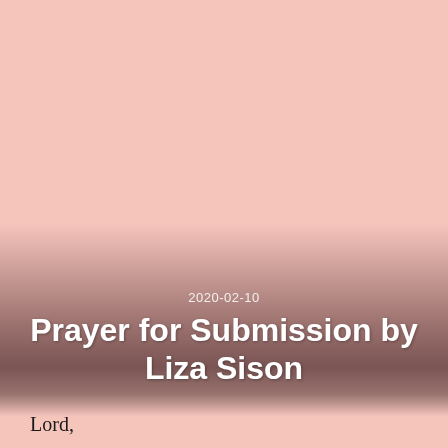[Figure (illustration): Pink-rose background with a dark brownish-rose gradient overlay in the lower half of the image, serving as a decorative cover page.]
2020-02-10
Prayer for Submission by Liza Sison
Lord,